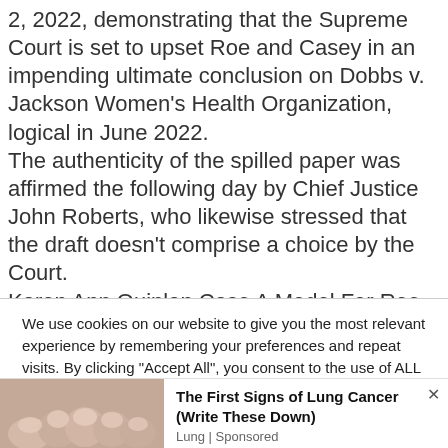2, 2022, demonstrating that the Supreme Court is set to upset Roe and Casey in an impending ultimate conclusion on Dobbs v. Jackson Women's Health Organization, logical in June 2022. The authenticity of the spilled paper was affirmed the following day by Chief Justice John Roberts, who likewise stressed that the draft doesn't comprise a choice by the Court. Karen Ann Quinlan Case A Model For Roe Vs Wade? Secret Truth You Didn't Know Karen Ann Quinlan's case turned into the focal point of a public discussion on the meaning of life and the option to die and in view of...
We use cookies on our website to give you the most relevant experience by remembering your preferences and repeat visits. By clicking "Accept All", you consent to the use of ALL the cookies. However, you may visit "Cookie Settings" to provide a controlled consent.
[Figure (photo): Close-up photo of human fingernails/hand]
The First Signs of Lung Cancer (Write These Down)
Lung | Sponsored